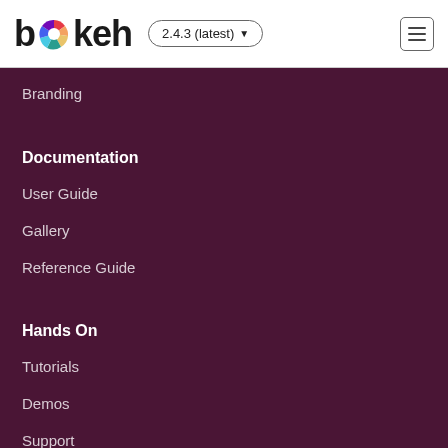bokeh 2.4.3 (latest)
Branding
Documentation
User Guide
Gallery
Reference Guide
Hands On
Tutorials
Demos
Support